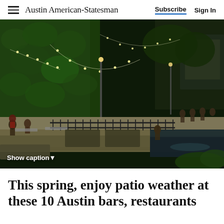Austin American-Statesman | Subscribe   Sign In
[Figure (photo): Night scene of an outdoor patio area along a waterway in Austin, Texas. String lights hang over a lush ivy-covered wall and trees. People are seated at benches and tables. A black iron fence runs along a concrete retaining wall above the water. The scene is illuminated warmly.]
Show caption▼
This spring, enjoy patio weather at these 10 Austin bars, restaurants